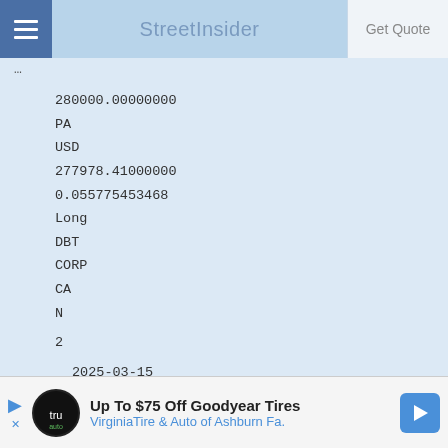StreetInsider | Get Quote
280000.00000000
PA
USD
277978.41000000
0.055775453468
Long
DBT
CORP
CA
N
2
2025-03-15
Fixed
2.95000000
N
[Figure (screenshot): Advertisement banner: Up To $75 Off Goodyear Tires - VirginiaTire & Auto of Ashburn Fa.]